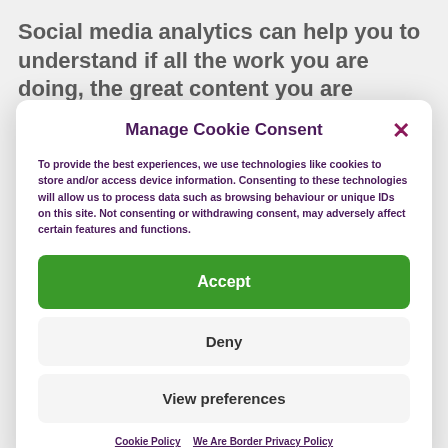Social media analytics can help you to understand if all the work you are doing, the great content you are creating and
Manage Cookie Consent
To provide the best experiences, we use technologies like cookies to store and/or access device information. Consenting to these technologies will allow us to process data such as browsing behaviour or unique IDs on this site. Not consenting or withdrawing consent, may adversely affect certain features and functions.
Accept
Deny
View preferences
Cookie Policy   We Are Border Privacy Policy